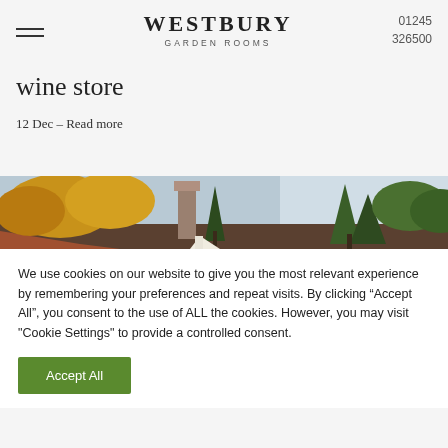WESTBURY GARDEN ROOMS | 01245 326500
wine store
12 Dec – Read more
[Figure (photo): Outdoor landscape photo showing trees with autumn foliage, a stone chimney or pillar, and a sky with clouds]
We use cookies on our website to give you the most relevant experience by remembering your preferences and repeat visits. By clicking “Accept All”, you consent to the use of ALL the cookies. However, you may visit "Cookie Settings" to provide a controlled consent.
Accept All